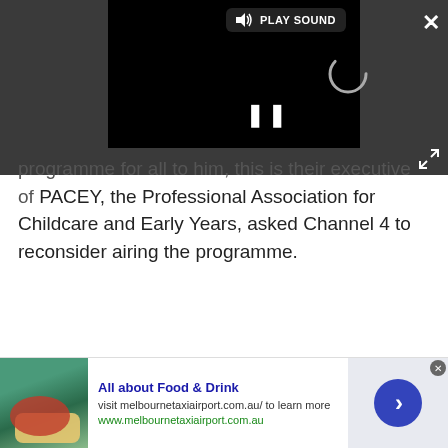[Figure (screenshot): Video player embedded in dark gray bar. Shows a black video frame with a loading spinner, a pause button (two vertical bars), a 'PLAY SOUND' button with speaker icon top-left, a close X button top-right, and an expand/fullscreen button bottom-right.]
programme for all to him, this is their executive of PACEY, the Professional Association for Childcare and Early Years, asked Channel 4 to reconsider airing the programme.
[Figure (other): Advertisement banner: food and drink image on left, 'All about Food & Drink' title in blue bold, description 'visit melbournetaxiairport.com.au/ to learn more', green link 'www.melbournetaxiairport.com.au', right side light purple background with dark blue arrow circle button. Small close circle top-right of ad.]